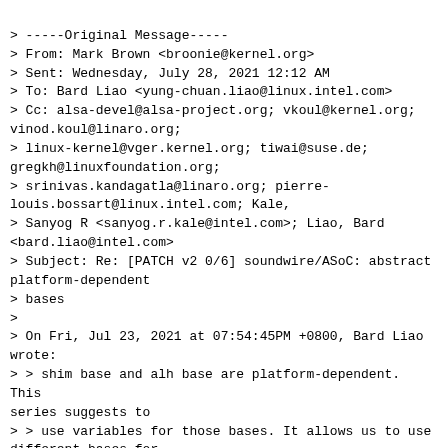> -----Original Message-----
> From: Mark Brown <broonie@kernel.org>
> Sent: Wednesday, July 28, 2021 12:12 AM
> To: Bard Liao <yung-chuan.liao@linux.intel.com>
> Cc: alsa-devel@alsa-project.org; vkoul@kernel.org;
vinod.koul@linaro.org;
> linux-kernel@vger.kernel.org; tiwai@suse.de;
gregkh@linuxfoundation.org;
> srinivas.kandagatla@linaro.org; pierre-louis.bossart@linux.intel.com; Kale,
> Sanyog R <sanyog.r.kale@intel.com>; Liao, Bard
<bard.liao@intel.com>
> Subject: Re: [PATCH v2 0/6] soundwire/ASoC: abstract platform-dependent
> bases
>
> On Fri, Jul 23, 2021 at 07:54:45PM +0800, Bard Liao
wrote:
> > shim base and alh base are platform-dependent. This
series suggests to
> > use variables for those bases. It allows us to use
different bases for
> > new platforms.
>
> The ASoC bits look fine to me, what't eh plan for
merging this?  I can apply to
> ASoC if people like, or should the Soundwire bits go
via the Soundwire tree?

Thanks Mark. Apply to ASoC or Soundwire are both fine...